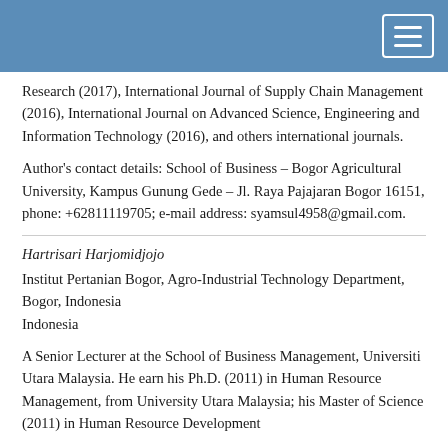Research (2017), International Journal of Supply Chain Management (2016), International Journal on Advanced Science, Engineering and Information Technology (2016), and others international journals.
Author's contact details: School of Business – Bogor Agricultural University, Kampus Gunung Gede – Jl. Raya Pajajaran Bogor 16151, phone: +62811119705; e-mail address: syamsul4958@gmail.com.
Hartrisari Harjomidjojo
Institut Pertanian Bogor, Agro-Industrial Technology Department, Bogor, Indonesia
Indonesia
A Senior Lecturer at the School of Business Management, Universiti Utara Malaysia. He earn his Ph.D. (2011) in Human Resource Management, from University Utara Malaysia; his Master of Science (2011) in Human Resource Development